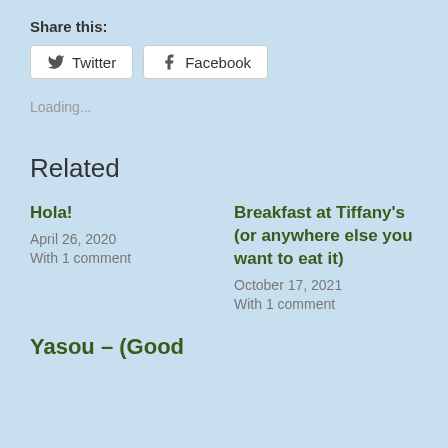Share this:
Twitter  Facebook
Loading...
Related
Hola!
April 26, 2020
With 1 comment
Breakfast at Tiffany's (or anywhere else you want to eat it)
October 17, 2021
With 1 comment
Yasou – (Good